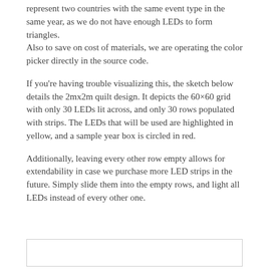represent two countries with the same event type in the same year, as we do not have enough LEDs to form triangles.
Also to save on cost of materials, we are operating the color picker directly in the source code.
If you're having trouble visualizing this, the sketch below details the 2mx2m quilt design. It depicts the 60×60 grid with only 30 LEDs lit across, and only 30 rows populated with strips. The LEDs that will be used are highlighted in yellow, and a sample year box is circled in red.
Additionally, leaving every other row empty allows for extendability in case we purchase more LED strips in the future. Simply slide them into the empty rows, and light all LEDs instead of every other one.
[Figure (illustration): Empty box/frame placeholder for a sketch or figure showing the 2mx2m quilt design.]